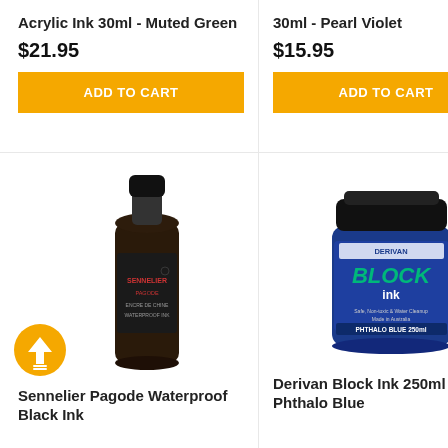Acrylic Ink 30ml - Muted Green
$21.95
ADD TO CART
30ml - Pearl Violet
$15.95
ADD TO CART
[Figure (photo): Bottle of Sennelier Pagode Waterproof Black Ink, dark glass bottle with black cap and red label]
Sennelier Pagode Waterproof Black Ink
[Figure (photo): Jar of Derivan Block Ink 250ml Phthalo Blue, wide blue jar with black lid and green/black label reading BLOCK ink]
Derivan Block Ink 250ml - Phthalo Blue